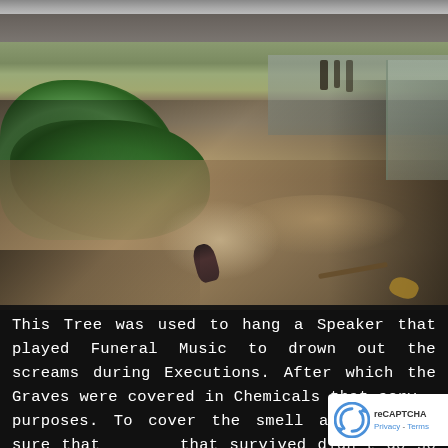[Figure (photo): Outdoor photograph showing a shaded dirt ground area beneath a concrete structure or overhang. Green grass is visible on the left side. The ground is bare dirt with dappled sunlight and shadows. A small dark object rests on the illuminated patch of dirt in the center. Background shows structural columns and what appears to be a building or shelter in the distance.]
This Tree was used to hang a Speaker that played Funeral Music to drown out the screams during Executions. After which the Graves were covered in Chemicals that served purposes. To cover the smell and to make sure that anyone that survived didn't do so for long.